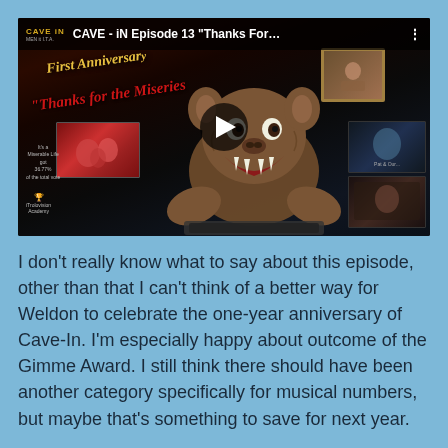[Figure (screenshot): YouTube video thumbnail for CAVE - iN Episode 13 'Thanks For...' showing a furry monster creature at a laptop keyboard, with text overlays including 'First Anniversary' and 'Thanks for the Miseries', along with smaller inset images. A play button is centered on the video.]
I don't really know what to say about this episode, other than that I can't think of a better way for Weldon to celebrate the one-year anniversary of Cave-In. I'm especially happy about outcome of the Gimme Award. I still think there should have been another category specifically for musical numbers, but maybe that's something to save for next year.